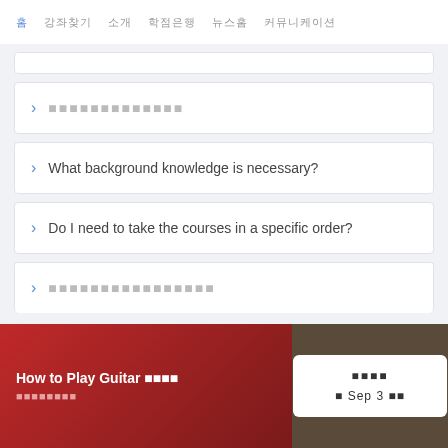홈  강좌찾기  소개  학점은행  뉴스홈  커뮤니케이션
[redacted question - CJK]
What background knowledge is necessary?
Do I need to take the courses in a specific order?
[redacted question - CJK]
How to Play Guitar [CJK] [CJK subtitle]
[CJK] Sep 3 [CJK]